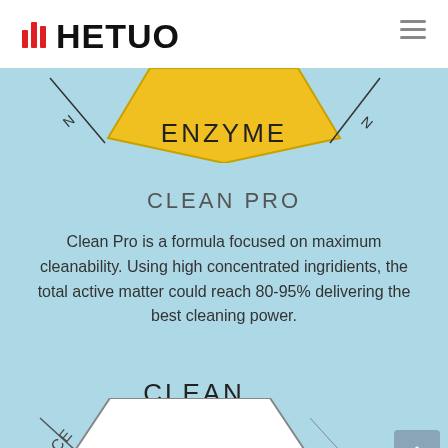[Figure (logo): HETUO brand logo with red bar chart icon on the left, white background header bar with hamburger menu icon on the right]
[Figure (illustration): Yellow hexagon shape partially visible at top of light blue section, with decorative diagonal lines/text on either side]
ENZYME
CLEAN PRO
Clean Pro is a formula focused on maximum cleanability. Using high concentrated ingridients, the total active matter could reach 80-95% delivering the best cleaning power.
CLEAN
[Figure (illustration): White/outline hexagon shape partially visible at bottom, with 'CE' text diagonal on the left side, back-to-top arrow button on the bottom right]